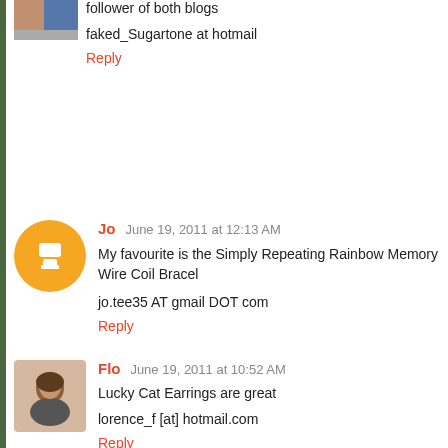follower of both blogs
faked_Sugartone at hotmail
Reply
Jo  June 19, 2011 at 12:13 AM
My favourite is the Simply Repeating Rainbow Memory Wire Coil Bracel…
jo.tee35 AT gmail DOT com
Reply
Flo  June 19, 2011 at 10:52 AM
Lucky Cat Earrings are great
lorence_f [at] hotmail.com
Reply
Glo  June 19, 2011 at 3:02 PM
I like: http://www.etsy.com/listing/74789088/blue-and-rainbow-memory-w…